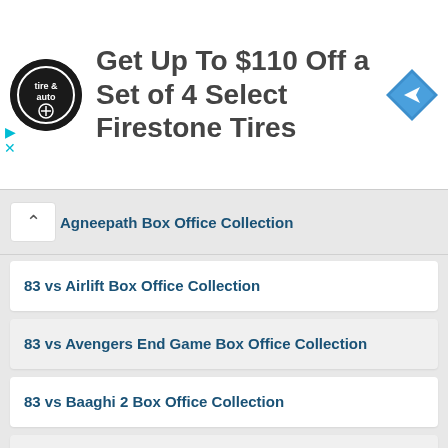[Figure (other): Advertisement banner: Tire & Auto logo, text 'Get Up To $110 Off a Set of 4 Select Firestone Tires', navigation icon]
Agneepath Box Office Collection
83 vs Airlift Box Office Collection
83 vs Avengers End Game Box Office Collection
83 vs Baaghi 2 Box Office Collection
83 vs Baahubali 2 The Conclusion Box Office Collection
83 vs Baahubali Box Office Collection
83 vs Badhaai Ho Box Office Collection
83 vs Badrinath Ki Dulhania Box Office Collection